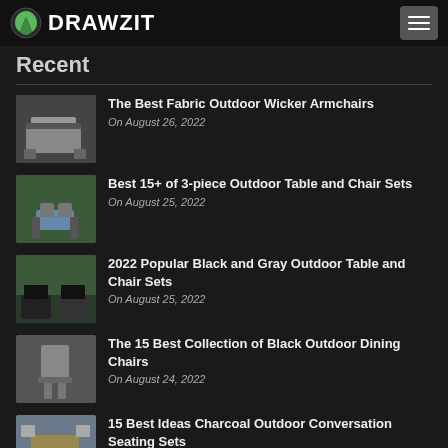DRAWZIT
Recent
The Best Fabric Outdoor Wicker Armchairs
On August 26, 2022
Best 15+ of 3-piece Outdoor Table and Chair Sets
On August 25, 2022
2022 Popular Black and Gray Outdoor Table and Chair Sets
On August 25, 2022
The 15 Best Collection of Black Outdoor Dining Chairs
On August 24, 2022
15 Best Ideas Charcoal Outdoor Conversation Seating Sets
On August 24, 2022
15 Collection of White 4-piece Outdoor Seating...